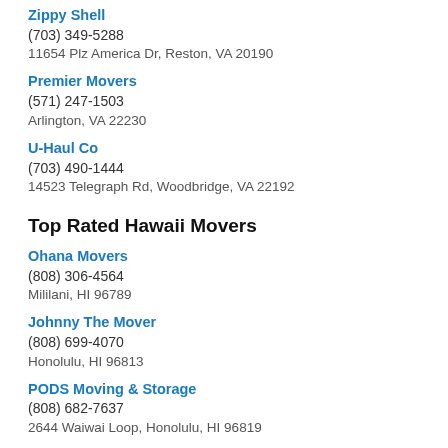Zippy Shell
(703) 349-5288
11654 Plz America Dr, Reston, VA 20190
Premier Movers
(571) 247-1503
Arlington, VA 22230
U-Haul Co
(703) 490-1444
14523 Telegraph Rd, Woodbridge, VA 22192
Top Rated Hawaii Movers
Ohana Movers
(808) 306-4564
Mililani, HI 96789
Johnny The Mover
(808) 699-4070
Honolulu, HI 96813
PODS Moving & Storage
(808) 682-7637
2644 Waiwai Loop, Honolulu, HI 96819
2 Guys & A Truck
(808) 542-5058
2403 Pacific Heights Rd, Honolulu, HI 96813
Honolulu Freight Service